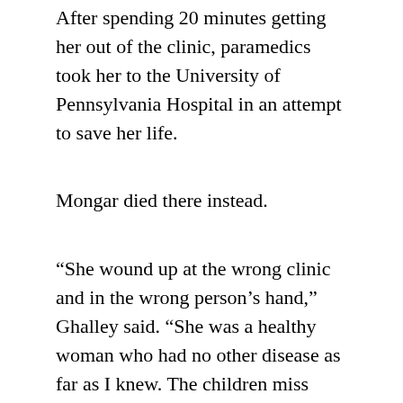After spending 20 minutes getting her out of the clinic, paramedics took her to the University of Pennsylvania Hospital in an attempt to save her life.
Mongar died there instead.
“She wound up at the wrong clinic and in the wrong person’s hand,” Ghalley said. “She was a healthy woman who had no other disease as far as I knew. The children miss their mother day and night.”
“The sunshine has gone from our family.”
Bad gas station rest room
Dr. Gosnell was arrested last week and charged with third